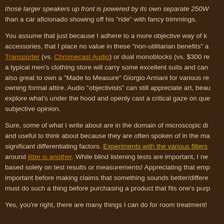those larger speakers up front is powered by its own separate 250W than a car aficionado showing off his "ride" with fancy trimmings.
You assume that just because I adhere to a more objective way of k accessories, that I place no value in these "non-utilitarian benefits" a Transporter (vs. Chromecast Audio) or dual monoblocks (vs. $300 r a typical men's clothing store will carry some excellent suits and can also great to own a "Made to Measure" Giorgio Armani for various re owning formal attire. Audio "objectivists" can still appreciate art, beau explore what's under the hood and openly cast a critical gaze on que subjective opinion.
Sure, some of what I write about are in the domain of microscopic di and useful to think about because they are often spoken of in the ma significant differentiating factors. Experiments with the various filters around jitter is another. While blind listening tests are important, I ne based solely on test results or measurements! Appreciating that emp important before making claims that something sounds better/differe must do such a thing before purchasing a product that fits one's purp
Yes, you're right, there are many things I can do for room treatment!